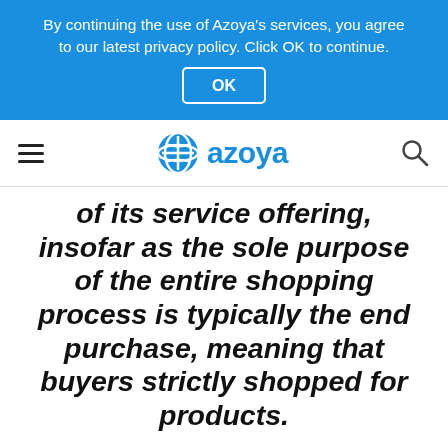By continuing the use of Azoya's services, you agree to our latest privacy policy. Click OK to continue. OK
[Figure (logo): Azoya logo with blue triangle/globe icon and text 'azoya' in blue, with hamburger menu icon on left and search icon on right]
of its service offering, insofar as the sole purpose of the entire shopping process is typically the end purchase, meaning that buyers strictly shopped for products.